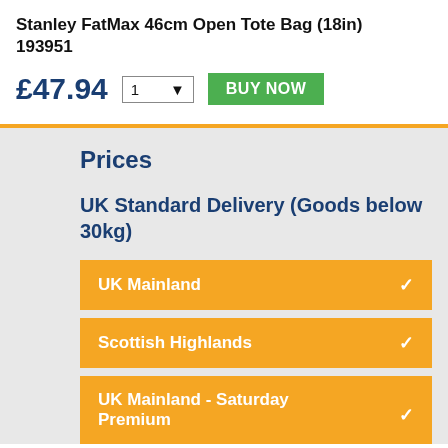Stanley FatMax 46cm Open Tote Bag (18in) 193951
£47.94
Prices
UK Standard Delivery (Goods below 30kg)
UK Mainland
Scottish Highlands
UK Mainland - Saturday Premium